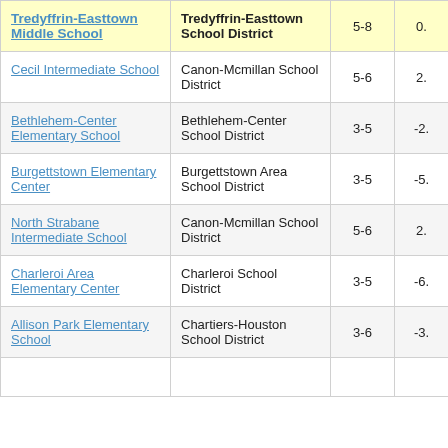| School | District | Grades | Score |
| --- | --- | --- | --- |
| Tredyffrin-Easttown Middle School | Tredyffrin-Easttown School District | 5-8 | 0. |
| Cecil Intermediate School | Canon-Mcmillan School District | 5-6 | 2. |
| Bethlehem-Center Elementary School | Bethlehem-Center School District | 3-5 | -2. |
| Burgettstown Elementary Center | Burgettstown Area School District | 3-5 | -5. |
| North Strabane Intermediate School | Canon-Mcmillan School District | 5-6 | 2. |
| Charleroi Area Elementary Center | Charleroi School District | 3-5 | -6. |
| Allison Park Elementary School | Chartiers-Houston School District | 3-6 | -3. |